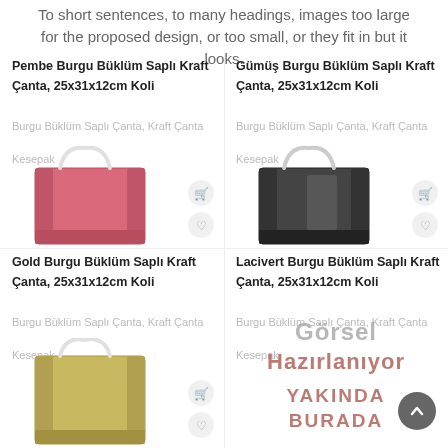To short sentences, to many headings, images too large for the proposed design, or too small, or they fit in but it looks.
[Figure (photo): Pink paper shopping bag with twisted rope handles on white background]
Pembe Burgu Büklüm Saplı Kraft Çanta, 25x31x12cm Koli
Burgu Büklüm Saplı Çanta, Kraft Çanta
Kesepak
[Figure (photo): Dark grey/black paper shopping bag with twisted rope handles on white background]
Gümüş Burgu Büklüm Saplı Kraft Çanta, 25x31x12cm Koli
Burgu Büklüm Saplı Çanta, Kraft Çanta
Kesepak
[Figure (photo): Gold/yellow paper shopping bag with twisted rope handles on white background]
Gold Burgu Büklüm Saplı Kraft Çanta, 25x31x12cm Koli
Burgu Büklüm Saplı Çanta, Kraft Çanta
Kesepak
[Figure (other): Placeholder with overlay text: Görsel Hazırlanıyor / YAKINDA BURADA]
Lacivert Burgu Büklüm Saplı Kraft Çanta, 25x31x12cm Koli
Burgu Büklüm Saplı Çanta, Kraft Çanta
Kesepak